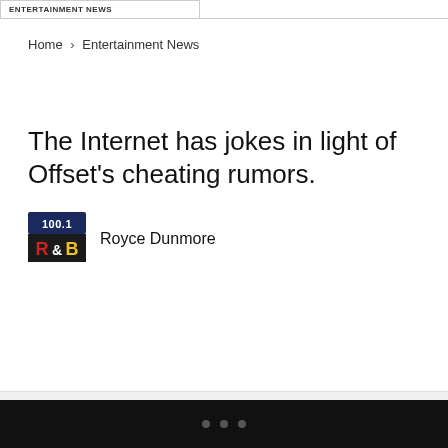ENTERTAINMENT NEWS
Home › Entertainment News
The Internet has jokes in light of Offset's cheating rumors.
Royce Dunmore
[Figure (logo): 100.1 R&B radio station logo — a small square logo with '100.1' on top and 'R&B' in stylized letters below]
• • •